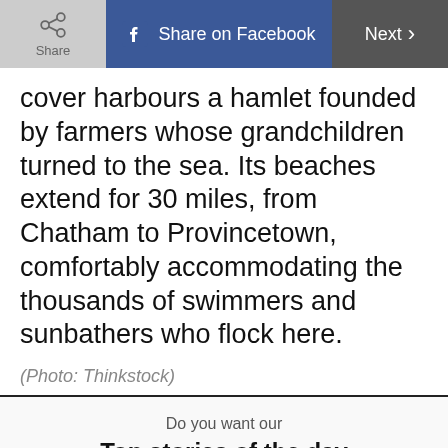Share | Share on Facebook | Next
cover harbours a hamlet founded by farmers whose grandchildren turned to the sea. Its beaches extend for 30 miles, from Chatham to Provincetown, comfortably accommodating the thousands of swimmers and sunbathers who flock here.
(Photo: Thinkstock)
Do you want our
Top stories of the day delivered to your inbox?
YES PLEASE!
NO THANKS